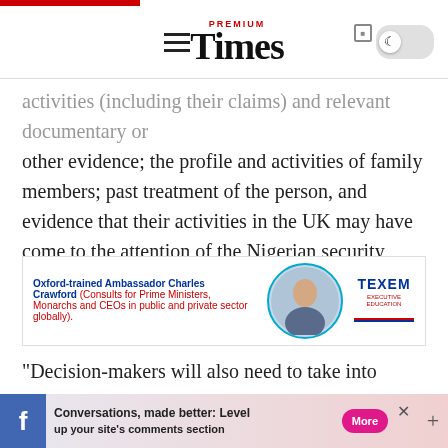Premium Times
activities (including their claims) and relevant documentary or other evidence; the profile and activities of family members; past treatment of the person, and evidence that their activities in the UK may have come to the attention of the Nigerian security agencies.
[Figure (infographic): TEXEM advertisement featuring Oxford-trained Ambassador Charles Crawford who consults for Prime Ministers, Monarchs and CEOs in public and private sector globally.]
“Decision-makers will also need to take into account whether the person supports and is active on behalf of IPOB, which is a proscribed group in Nigeria, and whether they fear prosecution rather than persecution,” the migration policy states.
[Figure (infographic): Facebook banner ad: Conversations, made better: Level up your site's comments section. More button shown.]